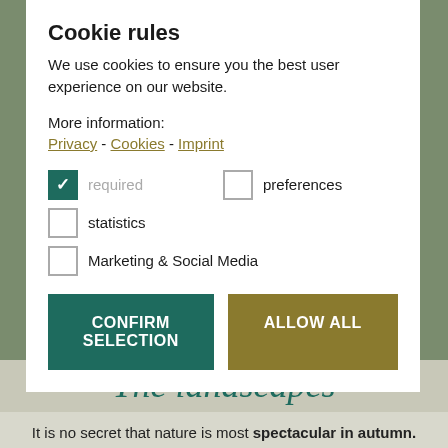Cookie rules
We use cookies to ensure you the best user experience on our website.
More information:
Privacy - Cookies - Imprint
required (checked)
preferences (unchecked)
statistics (unchecked)
Marketing & Social Media (unchecked)
CONFIRM SELECTION   ALLOW ALL
The landscapes
It is no secret that nature is most spectacular in autumn. The apple harvest is in full swing, chestnut groves in Schlanders and Kastellbell in Vinschgau are